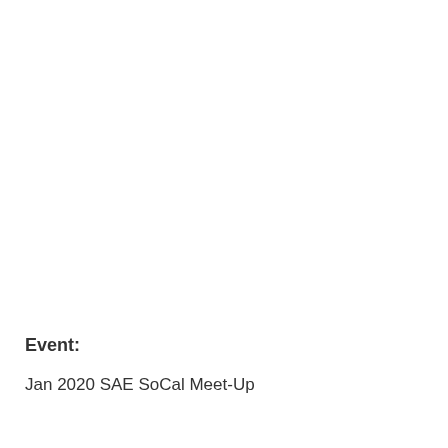Event:
Jan 2020 SAE SoCal Meet-Up